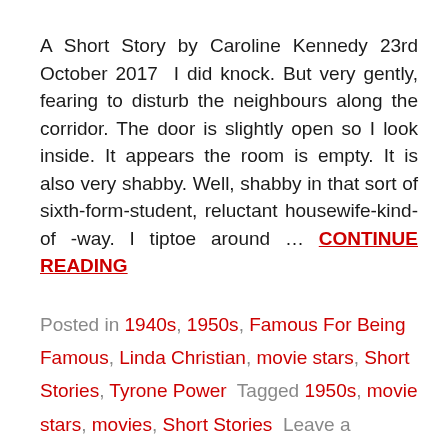A Short Story by Caroline Kennedy 23rd October 2017  I did knock. But very gently, fearing to disturb the neighbours along the corridor. The door is slightly open so I look inside. It appears the room is empty. It is also very shabby. Well, shabby in that sort of sixth-form-student, reluctant housewife-kind-of -way. I tiptoe around … CONTINUE READING
Posted in 1940s, 1950s, Famous For Being Famous, Linda Christian, movie stars, Short Stories, Tyrone Power  Tagged 1950s, movie stars, movies, Short Stories  Leave a comment